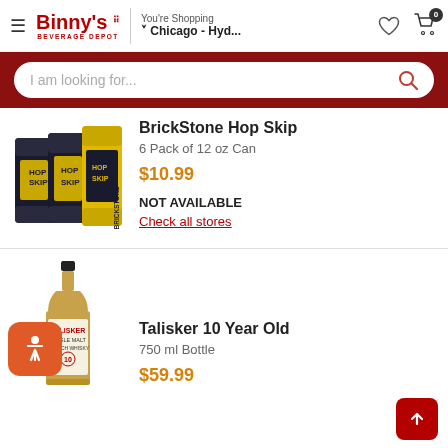Binny's Beverage Depot — You're Shopping Chicago - Hyd...
I am looking for...
[Figure (photo): BrickStone Hop Skip 6-pack of 12 oz cans, black and yellow packaging]
BrickStone Hop Skip
6 Pack of 12 oz Can
$10.99
NOT AVAILABLE
Check all stores
[Figure (photo): Talisker 10 Year Old whisky bottle, 750 ml]
Talisker 10 Year Old
750 ml Bottle
$59.99